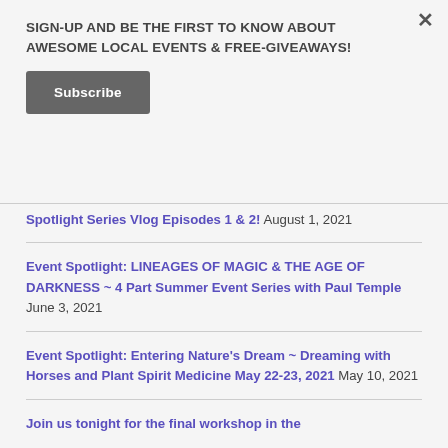×
SIGN-UP AND BE THE FIRST TO KNOW ABOUT AWESOME LOCAL EVENTS & FREE-GIVEAWAYS!
Subscribe
Spotlight Series Vlog Episodes 1 & 2! August 1, 2021
Event Spotlight: LINEAGES OF MAGIC & THE AGE OF DARKNESS ~ 4 Part Summer Event Series with Paul Temple June 3, 2021
Event Spotlight: Entering Nature's Dream ~ Dreaming with Horses and Plant Spirit Medicine May 22-23, 2021 May 10, 2021
Join us tonight for the final workshop in the